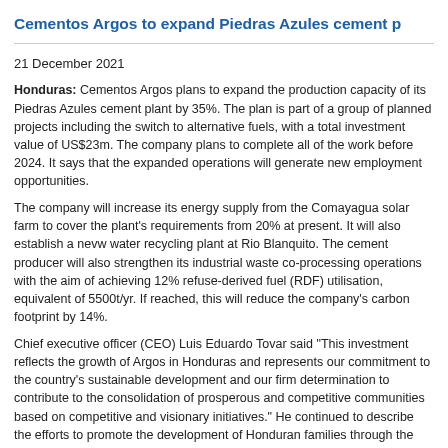Cementos Argos to expand Piedras Azules cement p
21 December 2021
Honduras: Cementos Argos plans to expand the production capacity of its Piedras Azules cement plant by 35%. The plan is part of a group of planned projects including the switch to alternative fuels, with a total investment value of US$23m. The company plans to complete all of the work before 2024. It says that the expanded operations will generate new employment opportunities.
The company will increase its energy supply from the Comayagua solar farm to cover the plant's requirements from 20% at present. It will also establish a new water recycling plant at Rio Blanquito. The cement producer will also strengthen its industrial waste co-processing operations with the aim of achieving 12% refuse-derived fuel (RDF) utilisation, equivalent of 5500t/yr. If reached, this will reduce the company's carbon footprint by 14%.
Chief executive officer (CEO) Luis Eduardo Tovar said "This investment reflects the growth of Argos in Honduras and represents our commitment to the country's sustainable development and our firm determination to contribute to the consolidation of prosperous and competitive communities based on competitive and visionary initiatives." He continued to describe the efforts to promote the development of Honduran families through the creation of wealth at a national level."